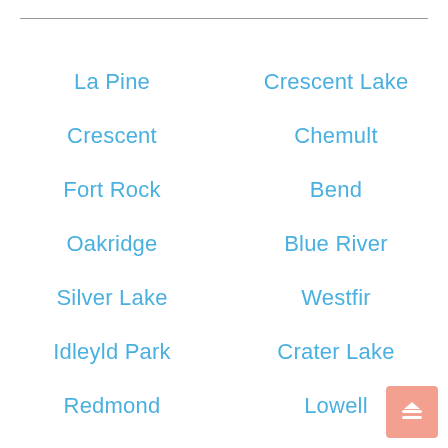La Pine
Crescent Lake
Crescent
Chemult
Fort Rock
Bend
Oakridge
Blue River
Silver Lake
Westfir
Idleyld Park
Crater Lake
Redmond
Lowell
Chiloquin
Powell Butte
Sisters
Fall Creek